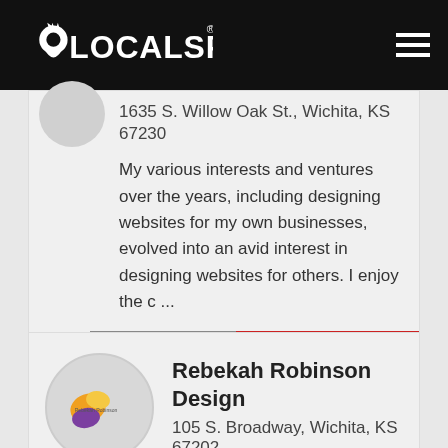LOCALSPARK
1635 S. Willow Oak St., Wichita, KS 67230
My various interests and ventures over the years, including designing websites for my own businesses, evolved into an avid interest in designing websites for others. I enjoy the c ...
VISIT SITE   VIEW PROFILE
Rebekah Robinson Design
105 S. Broadway, Wichita, KS 67202